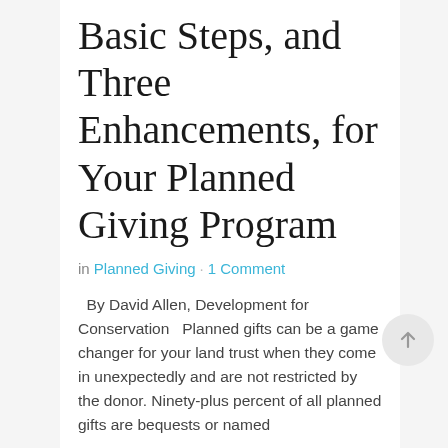Basic Steps, and Three Enhancements, for Your Planned Giving Program
in Planned Giving · 1 Comment
By David Allen, Development for Conservation   Planned gifts can be a game changer for your land trust when they come in unexpectedly and are not restricted by the donor. Ninety-plus percent of all planned gifts are bequests or named